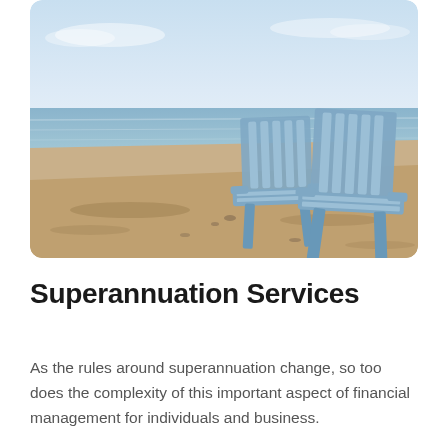[Figure (photo): Two blue Adirondack chairs on a sandy beach facing the ocean, under a clear light blue sky. Peaceful seaside retirement scene.]
Superannuation Services
As the rules around superannuation change, so too does the complexity of this important aspect of financial management for individuals and business.